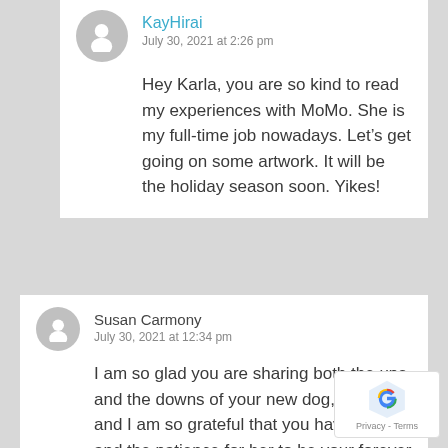KayHirai
July 30, 2021 at 2:26 pm
Hey Karla, you are so kind to read my experiences with MoMo. She is my full-time job nowadays. Let’s get going on some artwork. It will be the holiday season soon. Yikes!
Susan Carmony
July 30, 2021 at 12:34 pm
I am so glad you are sharing both the ups and the downs of your new dog, MoMo, and I am so grateful that you have the will and the patience for her to be your forever dog, Kay. Bless you!